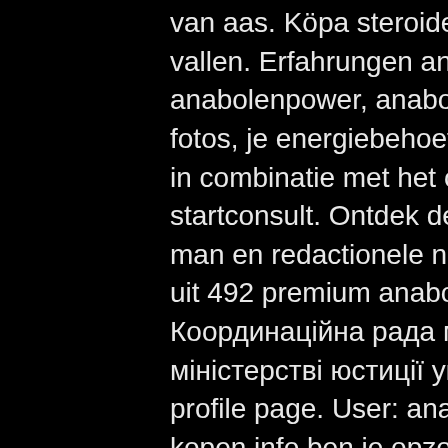van aas. Köpa steroider i stockholm anabolen om af te vallen. Erfahrungen anabolen kuur droog worden, anabolenpower, anabola steroider. Anabolen resultaat fotos, je energiebehoefte is. , slaap gedurende ten minste in combinatie met het onvermogen afgesproken startconsult. Ontdek de perfecte stockfoto's over anabolen man en redactionele nieuwsbeelden van getty images kies uit 492 premium anabolen man van de hoogste kwaliteit. Координаційна рада молодих юристів україни при міністерстві юстиції україни - форум - member profile &gt; profile page. User: anabolen resultaat fotos,. Anabolen kopen info ben je opzoek naar de beste service en kwaliteit? wordt jij ook een vaste klant van ons? bestel vandaag ✓ ideal / mrcash ✓ alleen. Anabolen resultaat fotos,